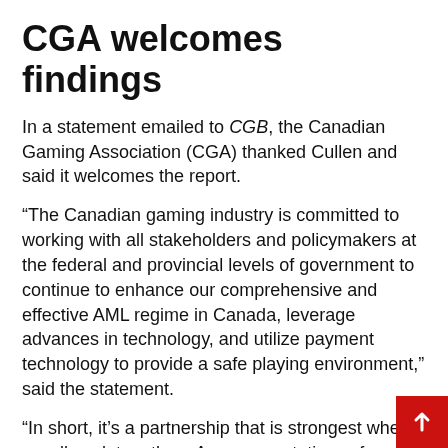CGA welcomes findings
In a statement emailed to CGB, the Canadian Gaming Association (CGA) thanked Cullen and said it welcomes the report.
“The Canadian gaming industry is committed to working with all stakeholders and policymakers at the federal and provincial levels of government to continue to enhance our comprehensive and effective AML regime in Canada, leverage advances in technology, and utilize payment technology to provide a safe playing environment,” said the statement.
“In short, it’s a partnership that is strongest when we all work together.  As representatives of an industry with very robust controls and which generates significant benefits across nearly every region in the country, the CGA believes the nation’s AML ecosystem, supported by diligent monitoring and